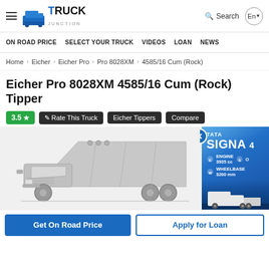Truck Junction — Search | En
ON ROAD PRICE   SELECT YOUR TRUCK   VIDEOS   LOAN   NEWS
Home > Eicher > Eicher Pro > Pro 8028XM > 4585/16 Cum (Rock)
Eicher Pro 8028XM 4585/16 Cum (Rock) Tipper
3.5 ★   ✏ Rate This Truck   Eicher Tippers   Compare
[Figure (illustration): Gray silhouette illustration of a tipper truck (Eicher Pro 8028XM) facing forward-right, with a large cargo bed raised. On the right side, a partially visible advertisement banner for TATA SIGNA with truck image and specs.]
Get On Road Price   Apply for Loan